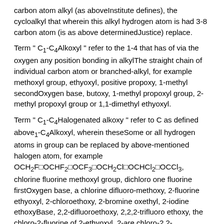carbon atom alkyl (as aboveInstitute defines), the cycloalkyl that wherein this alkyl hydrogen atom is had 3-8 carbon atom (is as above determinedJustice) replace.
Term " C1-C4Alkoxyl " refer to the 1-4 that has of via the oxygen any position bonding in alkylThe straight chain of individual carbon atom or branched-alkyl, for example methoxyl group, ethyoxyl, positive propoxy, 1-methyl secondOxygen base, butoxy, 1-methyl propoxyl group, 2-methyl propoxyl group or 1,1-dimethyl ethyoxyl.
Term " C1-C4Halogenated alkoxy " refer to C as defined above1-C4Alkoxyl, wherein theseSome or all hydrogen atoms in group can be replaced by above-mentioned halogen atom, for example OCH2FOCHF2OCF3OCH2ClOCHCl2OCCl3, chlorine fluorine methoxyl group, dichloro one fluorine firstOxygen base, a chlorine difluoro-methoxy, 2-fluorine ethyoxyl, 2-chloroethoxy, 2-bromine oxethyl, 2-iodine ethoxyBase, 2,2-difluoroethoxy, 2,2,2-trifluoro ethoxy, the chloro-2-fluorine of 2-ethyoxyl, 2-are chloro-2,2-difluoroEthyoxyl, 2, the chloro-2-fluorine of 2-bis-ethyoxyl, 2,2,2-tri-chloroethoxies, OC2F5, 2-fluorine propoxyl group 3-